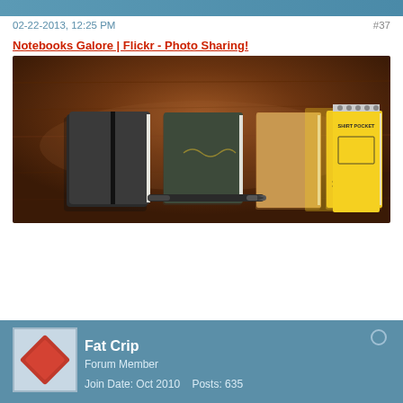02-22-2013, 12:25 PM
#37
Notebooks Galore | Flickr - Photo Sharing!
[Figure (photo): Five notebooks arranged on a dark wooden table alongside a pen. From left to right: a black Moleskine-style notebook with elastic band, a dark green notebook with cursive writing on cover, a tan/kraft colored notebook, a yellow Field Notes notebook, and a yellow Rite in the Rain shirt pocket notebook with spiral top binding. A black pen is placed in front of the notebooks.]
Fat Crip
Forum Member
Join Date: Oct 2010    Posts: 635